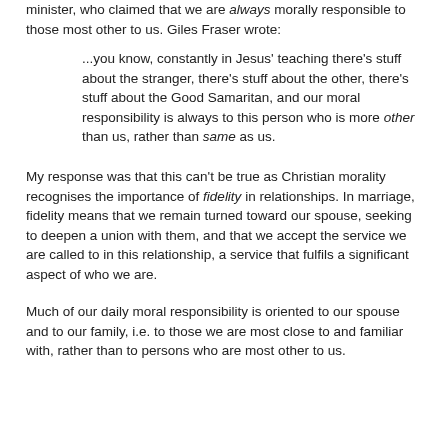minister, who claimed that we are always morally responsible to those most other to us. Giles Fraser wrote:
...you know, constantly in Jesus' teaching there's stuff about the stranger, there's stuff about the other, there's stuff about the Good Samaritan, and our moral responsibility is always to this person who is more other than us, rather than same as us.
My response was that this can't be true as Christian morality recognises the importance of fidelity in relationships. In marriage, fidelity means that we remain turned toward our spouse, seeking to deepen a union with them, and that we accept the service we are called to in this relationship, a service that fulfils a significant aspect of who we are.
Much of our daily moral responsibility is oriented to our spouse and to our family, i.e. to those we are most close to and familiar with, rather than to persons who are most other to us.